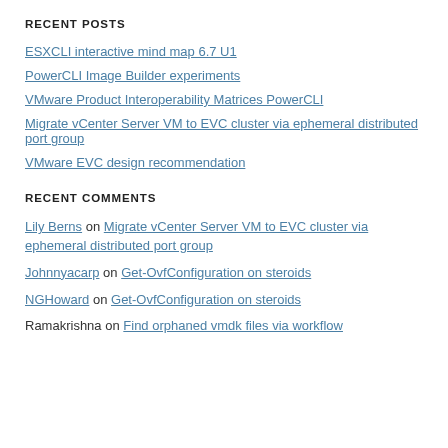RECENT POSTS
ESXCLI interactive mind map 6.7 U1
PowerCLI Image Builder experiments
VMware Product Interoperability Matrices PowerCLI
Migrate vCenter Server VM to EVC cluster via ephemeral distributed port group
VMware EVC design recommendation
RECENT COMMENTS
Lily Berns on Migrate vCenter Server VM to EVC cluster via ephemeral distributed port group
Johnnyacarp on Get-OvfConfiguration on steroids
NGHoward on Get-OvfConfiguration on steroids
Ramakrishna on Find orphaned vmdk files via workflow